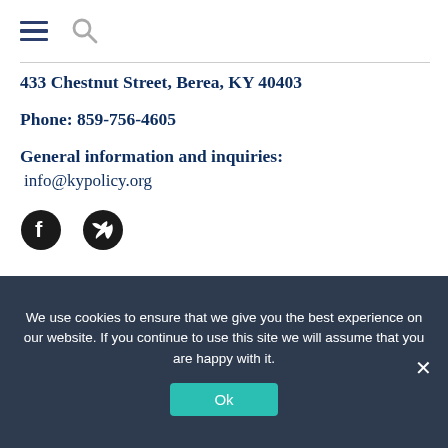Navigation bar with hamburger menu and search icon
433 Chestnut Street, Berea, KY 40403
Phone: 859-756-4605
General information and inquiries:
info@kypolicy.org
[Figure (other): Social media icons: Facebook and Twitter]
Help us make the facts free and accessible to everyone. That's how
We use cookies to ensure that we give you the best experience on our website. If you continue to use this site we will assume that you are happy with it.
Ok